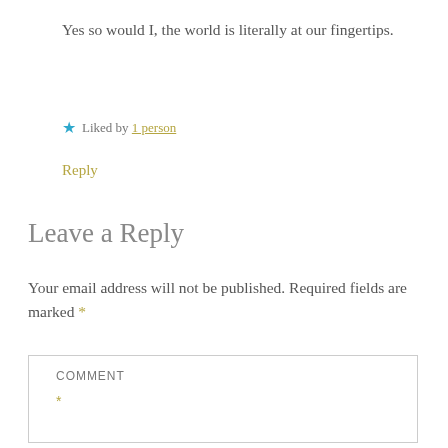Yes so would I, the world is literally at our fingertips.
★ Liked by 1 person
Reply
Leave a Reply
Your email address will not be published. Required fields are marked *
COMMENT *